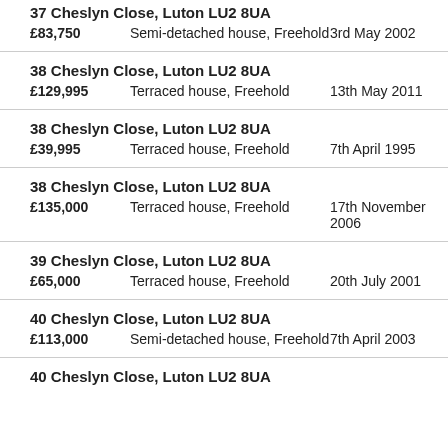37 Cheslyn Close, Luton LU2 8UA
£83,750  Semi-detached house, Freehold  3rd May 2002
38 Cheslyn Close, Luton LU2 8UA
£129,995  Terraced house, Freehold  13th May 2011
38 Cheslyn Close, Luton LU2 8UA
£39,995  Terraced house, Freehold  7th April 1995
38 Cheslyn Close, Luton LU2 8UA
£135,000  Terraced house, Freehold  17th November 2006
39 Cheslyn Close, Luton LU2 8UA
£65,000  Terraced house, Freehold  20th July 2001
40 Cheslyn Close, Luton LU2 8UA
£113,000  Semi-detached house, Freehold  7th April 2003
40 Cheslyn Close, Luton LU2 8UA